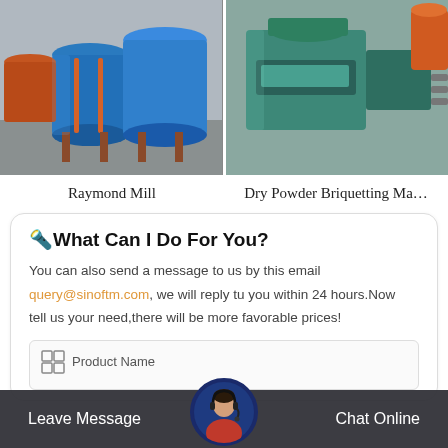[Figure (photo): Photo of blue and orange Raymond Mill industrial machines in a factory setting]
[Figure (photo): Photo of a green Dry Powder Briquetting Machine in a factory setting]
Raymond Mill
Dry Powder Briquetting Ma…
🔦What Can I Do For You?
You can also send a message to us by this email query@sinoftm.com, we will reply tu you within 24 hours.Now tell us your need,there will be more favorable prices!
Product Name
Leave Message   Chat Online